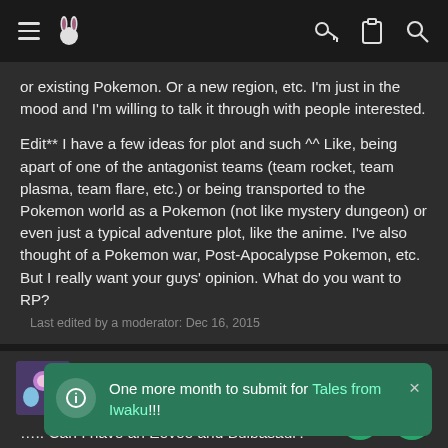Navigation bar with menu, logo, key, clipboard, and search icons
or existing Pokemon. Or a new region, etc. I'm just in the mood and I'm willing to talk it through with people interested.

Edit** I have a few ideas for plot and such ^^ Like, being apart of one of the antagonist teams (team rocket, team plasma, team flare, etc.) or being transported to the Pokemon world as a Pokemon (not like mystery dungeon) or even just a typical adventure plot, like the anime. I've also thought of a Pokemon war, Post-Apocalypse Pokemon, etc. But I really want your guys' opinion. What do you want to RP?
Last edited by a moderator: Dec 16, 2015
AmerilaRose
Just a bored girl  LURKER MEMBER
One more month to submit for Tales from Iwaku!!!
..... Can I have an Eevee and Bulbasaur?